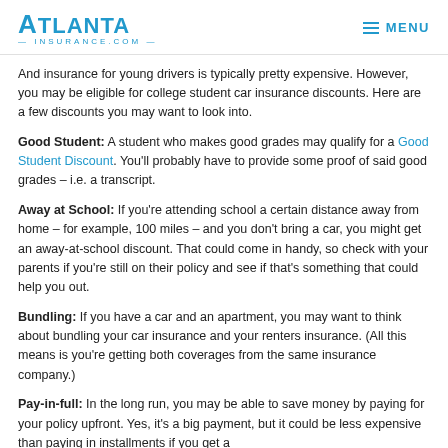Atlanta Insurance.com  MENU
And insurance for young drivers is typically pretty expensive. However, you may be eligible for college student car insurance discounts. Here are a few discounts you may want to look into.
Good Student: A student who makes good grades may qualify for a Good Student Discount. You'll probably have to provide some proof of said good grades – i.e. a transcript.
Away at School: If you're attending school a certain distance away from home – for example, 100 miles – and you don't bring a car, you might get an away-at-school discount. That could come in handy, so check with your parents if you're still on their policy and see if that's something that could help you out.
Bundling: If you have a car and an apartment, you may want to think about bundling your car insurance and your renters insurance. (All this means is you're getting both coverages from the same insurance company.)
Pay-in-full: In the long run, you may be able to save money by paying for your policy upfront. Yes, it's a big payment, but it could be less expensive than paying in installments if you get a